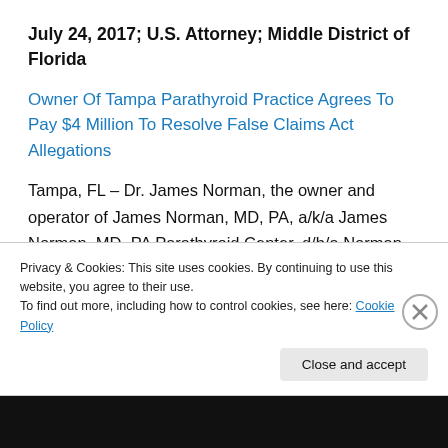July 24, 2017; U.S. Attorney; Middle District of Florida
Owner Of Tampa Parathyroid Practice Agrees To Pay $4 Million To Resolve False Claims Act Allegations
Tampa, FL – Dr. James Norman, the owner and operator of James Norman, MD, PA, a/k/a James Norman, MD, PA Parathyroid Center, d/b/a Norman Parathyroid Center (collectively, Norman) has agreed to pay $4 million to resolve allegations that he violated the False Claims Act by knowingly engaging in
Privacy & Cookies: This site uses cookies. By continuing to use this website, you agree to their use.
To find out more, including how to control cookies, see here: Cookie Policy
Close and accept